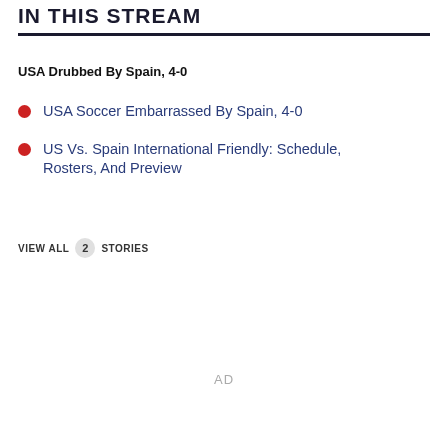IN THIS STREAM
USA Drubbed By Spain, 4-0
USA Soccer Embarrassed By Spain, 4-0
US Vs. Spain International Friendly: Schedule, Rosters, And Preview
VIEW ALL 2 STORIES
AD